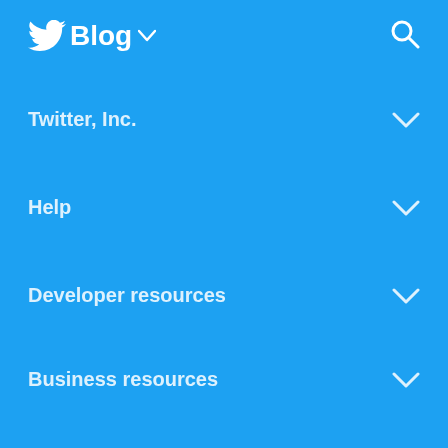Twitter Blog
Twitter, Inc.
Help
Developer resources
Business resources
© 2022 Twitter, Inc.
Cookies
Privacy
Terms and conditions